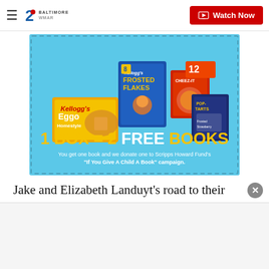≡ 2 BALTIMORE WMAR | Watch Now
[Figure (illustration): Kellogg's advertisement showing Frosted Flakes, Cheez-It, Pop-Tarts, and Eggo Homestyle waffle boxes on a light blue background with text '1 BOX = 2 FREE BOOKS. You get one book and we donate one to Scripps Howard Fund's "If You Give A Child A Book" campaign.']
Jake and Elizabeth Landuyt's road to their wedding day started on November 11, 2019, when Jake proposed at Sleeping Bear Dunes. His initial vision fo…